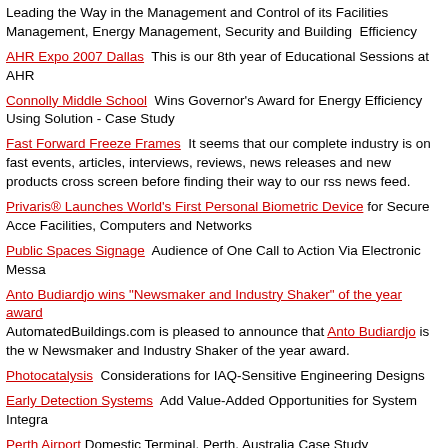Leading the Way in the Management and Control of its Facilities Management, Energy Management, Security and Building Efficiency
AHR Expo 2007 Dallas  This is our 8th year of Educational Sessions at AHR
Connolly Middle School  Wins Governor's Award for Energy Efficiency Using Solution - Case Study
Fast Forward Freeze Frames  It seems that our complete industry is on fast events, articles, interviews, reviews, news releases and new products cross screen before finding their way to our rss news feed.
Privaris® Launches World's First Personal Biometric Device for Secure Access Facilities, Computers and Networks
Public Spaces Signage  Audience of One Call to Action Via Electronic Message
Anto Budiardjo wins "Newsmaker and Industry Shaker" of the year award. AutomatedBuildings.com is pleased to announce that Anto Budiardjo is the winner of the Newsmaker and Industry Shaker of the year award.
Photocatalysis  Considerations for IAQ-Sensitive Engineering Designs
Early Detection Systems  Add Value-Added Opportunities for System Integrators
Perth Airport  Domestic Terminal, Perth, Australia Case Study
Building Automation 2006 Conference  March to Baltimore to learn more about Automation for 2006
The Stats on Stats  While we think of the thermostat as one of the simplest of HVAC system, there are actually many decisions that need to be made by both the building owner and the contactor.
Real World Interoperability  Effective Building Security Systems Interoperate Systems to Reduce Costs and Solve Tough Problems